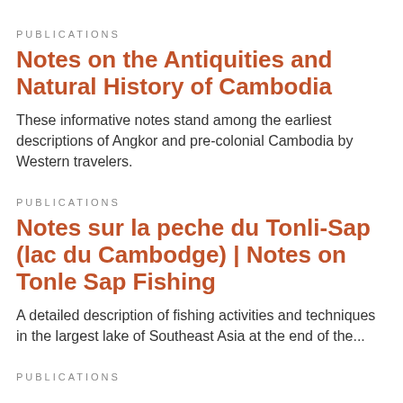PUBLICATIONS
Notes on the Antiquities and Natural History of Cambodia
These informative notes stand among the earliest descriptions of Angkor and pre-colonial Cambodia by Western travelers.
PUBLICATIONS
Notes sur la peche du Tonli-Sap (lac du Cambodge) | Notes on Tonle Sap Fishing
A detailed description of fishing activities and techniques in the largest lake of Southeast Asia at the end of the...
PUBLICATIONS